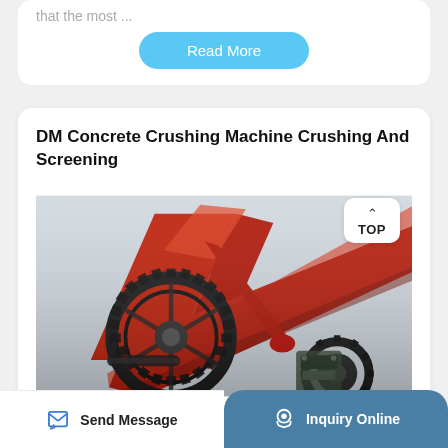that the most ...
Read More
DM Concrete Crushing Machine Crushing And Screening
[Figure (photo): Close-up photo of a large red industrial concrete crushing machine with black gear mechanisms and drive components visible]
TOP
Send Message
Inquiry Online